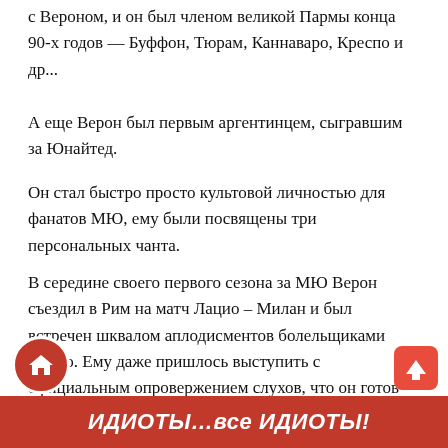с Вероном, и он был членом великой Пармы конца 90-х годов — Буффон, Тюрам, Каннаваро, Креспо и др...
А еще Верон был первым аргентинцем, сыгравшим за Юнайтед.
Он стал быстро просто культовой личностью для фанатов МЮ, ему были посвящены три персональных чанта.
В середине своего первого сезона за МЮ Верон съездил в Рим на матч Лацио – Милан и был встречен шквалом аплодисментов болельщиками Лацио. Ему даже пришлось выступить с официальным опровержением слухов, что он готов вернуться в Италию.
ИДИОТЫ…все ИДИОТЫ!